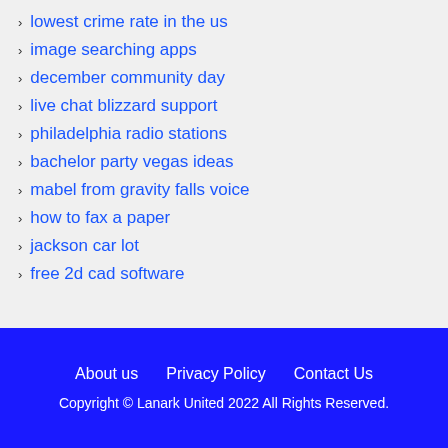lowest crime rate in the us
image searching apps
december community day
live chat blizzard support
philadelphia radio stations
bachelor party vegas ideas
mabel from gravity falls voice
how to fax a paper
jackson car lot
free 2d cad software
About us   Privacy Policy   Contact Us
Copyright © Lanark United 2022 All Rights Reserved.